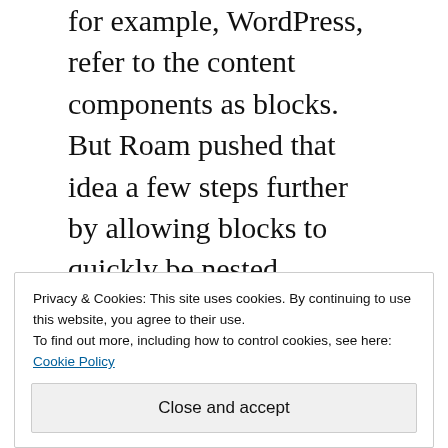for example, WordPress, refer to the content components as blocks. But Roam pushed that idea a few steps further by allowing blocks to quickly be nested, referred to, embedded, created from a piece of text in a block, appear in the sidebar, being searched and queried. Block capabilities can be extended and it has been, beyond what I thought was possible. Yet, for me, the most important thing is that blocks, along
Privacy & Cookies: This site uses cookies. By continuing to use this website, you agree to their use.
To find out more, including how to control cookies, see here: Cookie Policy
Close and accept